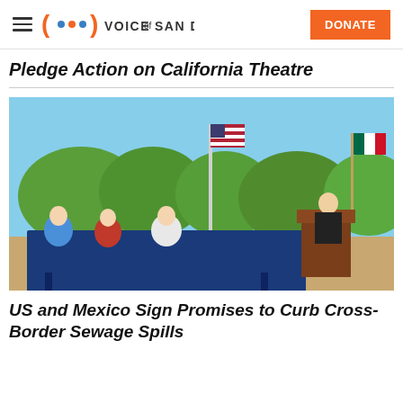Voice of San Diego — DONATE
Pledge Action on California Theatre
[Figure (photo): Outdoor press conference scene with people seated at a table with a blue tablecloth and a man speaking at a wooden podium. US and Mexican flags visible in background with desert shrubs and blue sky.]
US and Mexico Sign Promises to Curb Cross-Border Sewage Spills